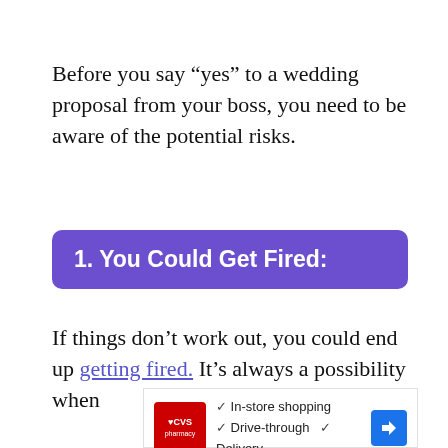Before you say “yes” to a wedding proposal from your boss, you need to be aware of the potential risks.
1. You Could Get Fired:
If things don’t work out, you could end up getting fired. It’s always a possibility when
[Figure (other): CVS Pharmacy advertisement showing in-store shopping, drive-through, and delivery options with a navigation arrow icon]